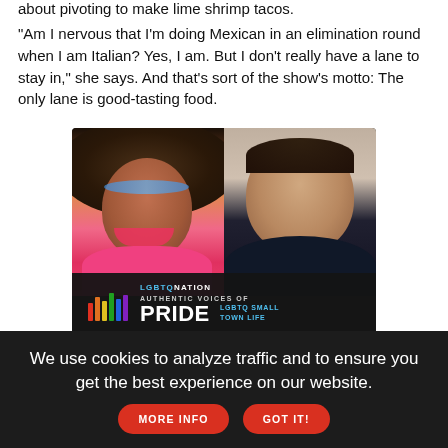about pivoting to make lime shrimp tacos.
"Am I nervous that I'm doing Mexican in an elimination round when I am Italian? Yes, I am. But I don't really have a lane to stay in," she says. And that's sort of the show's motto: The only lane is good-tasting food.
[Figure (infographic): LGBTQ Nation advertisement featuring two people (a drag queen and a man) with text 'Authentic Voices of PRIDE LGBTQ Small Town Life' sponsored by Chevrolet, with a Learn More button.]
We use cookies to analyze traffic and to ensure you get the best experience on our website.
MORE INFO | GOT IT!